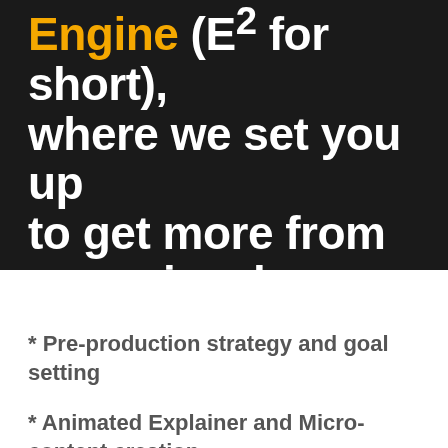Engine (E² for short), where we set you up to get more from your visual content.
Your E² includes:
* Pre-production strategy and goal setting
* Animated Explainer and Micro-content creation